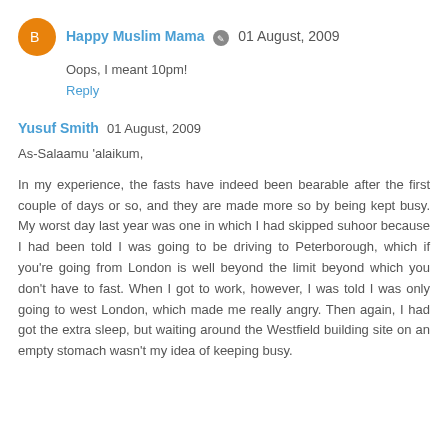Happy Muslim Mama  01 August, 2009
Oops, I meant 10pm!
Reply
Yusuf Smith  01 August, 2009
As-Salaamu 'alaikum,
In my experience, the fasts have indeed been bearable after the first couple of days or so, and they are made more so by being kept busy. My worst day last year was one in which I had skipped suhoor because I had been told I was going to be driving to Peterborough, which if you're going from London is well beyond the limit beyond which you don't have to fast. When I got to work, however, I was told I was only going to west London, which made me really angry. Then again, I had got the extra sleep, but waiting around the Westfield building site on an empty stomach wasn't my idea of keeping busy.